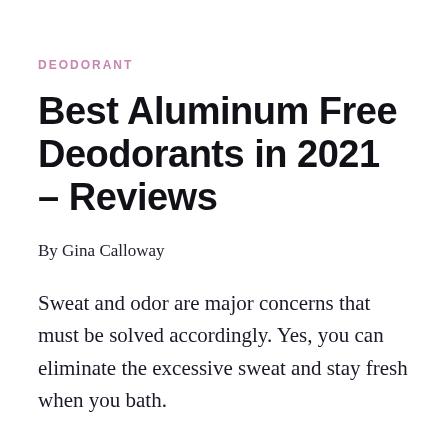DEODORANT
Best Aluminum Free Deodorants in 2021 – Reviews
By Gina Calloway
Sweat and odor are major concerns that must be solved accordingly. Yes, you can eliminate the excessive sweat and stay fresh when you bath. Nonetheless, this will not